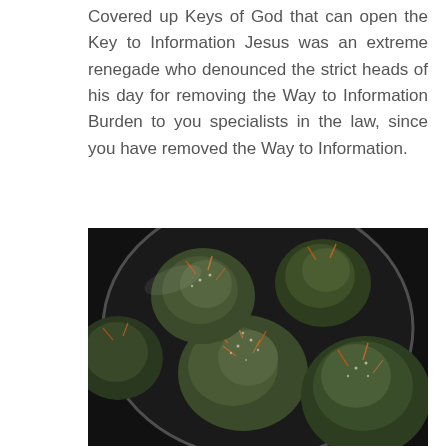Covered up Keys of God that can open the Key to Information Jesus was an extreme renegade who denounced the strict heads of his day for removing the Way to Information Burden to you specialists in the law, since you have removed the Way to Information.
[Figure (photo): Close-up photograph of cannabis flower buds in a glass bowl, dark background, showing green and orange trichome-covered buds.]